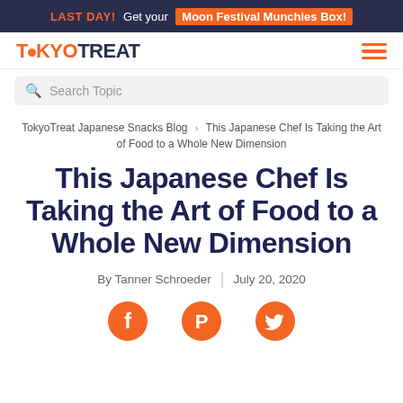LAST DAY! Get your Moon Festival Munchies Box!
[Figure (logo): TokyoTreat logo with orange circle dot replacing the O in Tokyo, orange hamburger menu icon on right]
Search Topic
TokyoTreat Japanese Snacks Blog › This Japanese Chef Is Taking the Art of Food to a Whole New Dimension
This Japanese Chef Is Taking the Art of Food to a Whole New Dimension
By Tanner Schroeder | July 20, 2020
[Figure (illustration): Three social media icons: Facebook (f), Pinterest (P), Twitter (bird), all in orange]